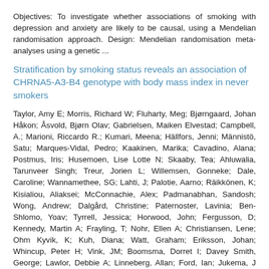Objectives: To investigate whether associations of smoking with depression and anxiety are likely to be causal, using a Mendelian randomisation approach. Design: Mendelian randomisation meta-analyses using a genetic ...
Stratification by smoking status reveals an association of CHRNA5-A3-B4 genotype with body mass index in never smokers
Taylor, Amy E; Morris, Richard W; Fluharty, Meg; Bjørngaard, Johan Håkon; Åsvold, Bjørn Olav; Gabrielsen, Maiken Elvestad; Campbell, A.; Marioni, Riccardo R.; Kumari, Meena; Hällfors, Jenni; Männistö, Satu; Marques-Vidal, Pedro; Kaakinen, Marika; Cavadino, Alana; Postmus, Iris; Husemoen, Lise Lotte N; Skaaby, Tea; Ahluwalia, Tarunveer Singh; Treur, Jorien L; Willemsen, Gonneke; Dale, Caroline; Wannamethee, SG; Lahti, J; Palotie, Aarno; Räikkönen, K; Kisialiou, Aliaksei; McConnachie, Alex; Padmanabhan, Sandosh; Wong, Andrew; Dalgård, Christine; Paternoster, Lavinia; Ben-Shlomo, Yoav; Tyrrell, Jessica; Horwood, John; Fergusson, D; Kennedy, Martin A; Frayling, T; Nohr, Ellen A; Christiansen, Lene; Ohm Kyvik, K; Kuh, Diana; Watt, Graham; Eriksson, Johan; Whincup, Peter H; Vink, JM; Boomsma, Dorret I; Davey Smith, George; Lawlor, Debbie A; Linneberg, Allan; Ford, Ian; Jukema, J Wouter; Power, C; Hyppönen, E; Jarvelin, Mario-Riitta; Preisig, Martin; Borodulin, Katja; Kaprio,